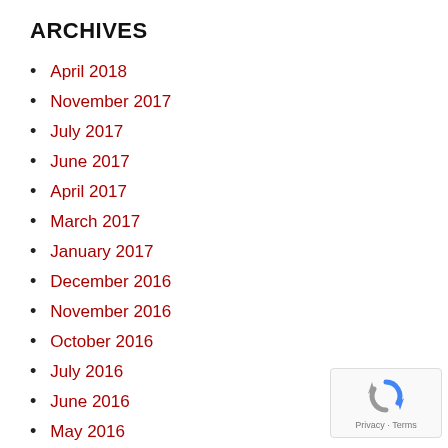ARCHIVES
April 2018
November 2017
July 2017
June 2017
April 2017
March 2017
January 2017
December 2016
November 2016
October 2016
July 2016
June 2016
May 2016
March 2016